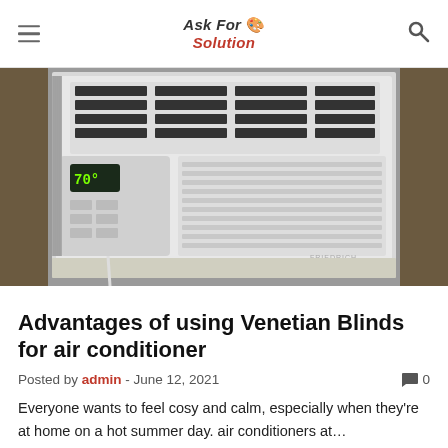Ask For Solution
[Figure (photo): A white window air conditioner unit installed in a window frame, showing digital display panel with controls, ventilation slats on top, and a power cord hanging down. Curtains visible on either side.]
Advantages of using Venetian Blinds for air conditioner
Posted by admin - June 12, 2021  0
Everyone wants to feel cosy and calm, especially when they're at home on a hot summer day. air conditioners at…